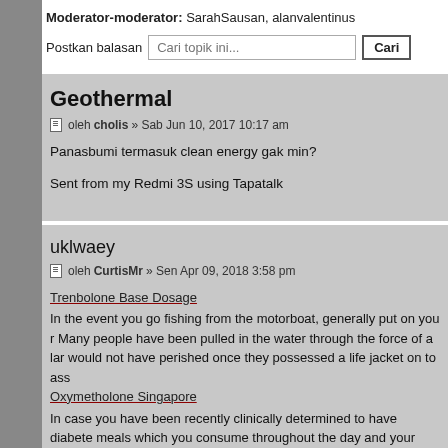Moderator-moderator: SarahSausan, alanvalentinus
Postkan balasan
Geothermal
oleh cholis » Sab Jun 10, 2017 10:17 am
Panasbumi termasuk clean energy gak min?

Sent from my Redmi 3S using Tapatalk
uklwaey
oleh CurtisMr » Sen Apr 09, 2018 3:58 pm
Trenbolone Base Dosage
In the event you go fishing from the motorboat, generally put on you... Many people have been pulled in the water through the force of a lar... would not have perished once they possessed a life jacket on to ass...
Oxymetholone Singapore
In case you have been recently clinically determined to have diabete... meals which you consume throughout the day and your blood sugar... help the truth is which foods tend to impact your amounts a lot more... on your own manage your diabetes mellitus with your diet program.
Nandrolone Decanoate China
If you have a reliable credit history, apply for a reduced fee payday...